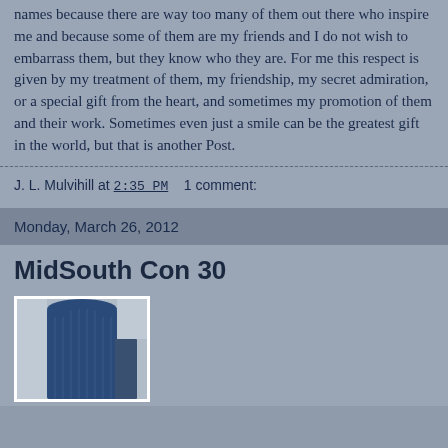names because there are way too many of them out there who inspire me and because some of them are my friends and I do not wish to embarrass them, but they know who they are. For me this respect is given by my treatment of them, my friendship, my secret admiration, or a special gift from the heart, and sometimes my promotion of them and their work. Sometimes even just a smile can be the greatest gift in the world, but that is another Post.
J. L. Mulvihill at 2:35 PM    1 comment:
Monday, March 26, 2012
MidSouth Con 30
[Figure (photo): Photo of a tall blue curved modern building against a grey sky]